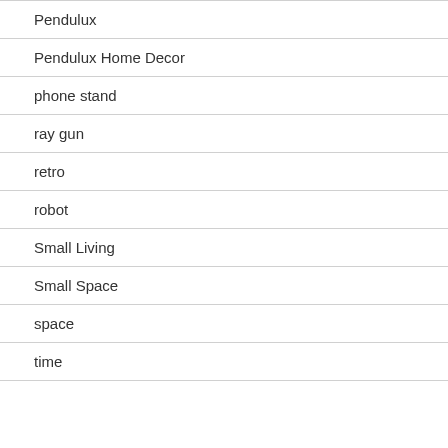Pendulux
Pendulux Home Decor
phone stand
ray gun
retro
robot
Small Living
Small Space
space
time